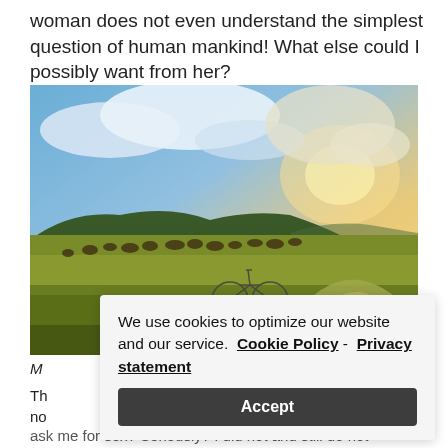woman does not even understand the simplest question of human mankind! What else could I possibly want from her?
[Figure (photo): A panoramic outdoor scene at golden hour showing a vast open grassland/steppe with a herd of animals grazing in the background, rolling hills and a dramatic cloud-filled sky. In the foreground right there is a camping tent and a bicycle leaning nearby.]
M
Th
no
ask me for sex? Seriously? I did not and still do not
[Figure (screenshot): Cookie consent banner overlay with text 'We use cookies to optimize our website and our service. Cookie Policy - Privacy statement' and an Accept button.]